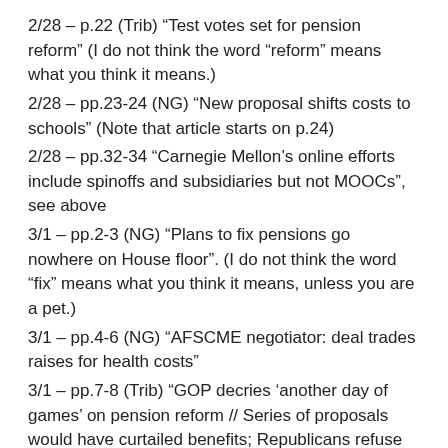2/28 – p.22 (Trib) "Test votes set for pension reform" (I do not think the word "reform" means what you think it means.)
2/28 – pp.23-24 (NG) "New proposal shifts costs to schools" (Note that article starts on p.24)
2/28 – pp.32-34 "Carnegie Mellon's online efforts include spinoffs and subsidiaries but not MOOCs", see above
3/1 – pp.2-3 (NG) "Plans to fix pensions go nowhere on House floor". (I do not think the word "fix" means what you think it means, unless you are a pet.)
3/1 – pp.4-6 (NG) "AFSCME negotiator: deal trades raises for health costs"
3/1 – pp.7-8 (Trib) "GOP decries 'another day of games' on pension reform // Series of proposals would have curtailed benefits; Republicans refuse to vote"
3/1 – pp.12-13 (Southern) "The gloves come off